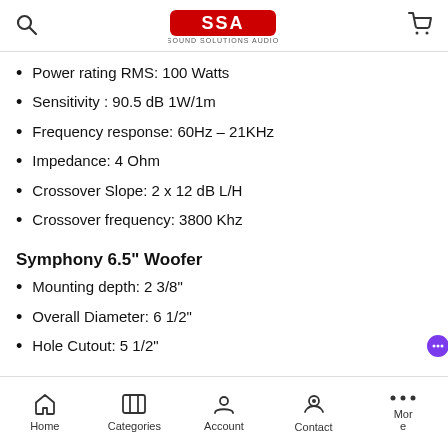Sound Solutions Audio — search and cart navigation
Power rating RMS: 100 Watts
Sensitivity : 90.5 dB 1W/1m
Frequency response: 60Hz – 21KHz
Impedance: 4 Ohm
Crossover Slope: 2 x 12 dB L/H
Crossover frequency: 3800 Khz
Symphony 6.5" Woofer
Mounting depth: 2 3/8"
Overall Diameter: 6 1/2"
Hole Cutout: 5 1/2"
Home  Categories  Account  Contact  More